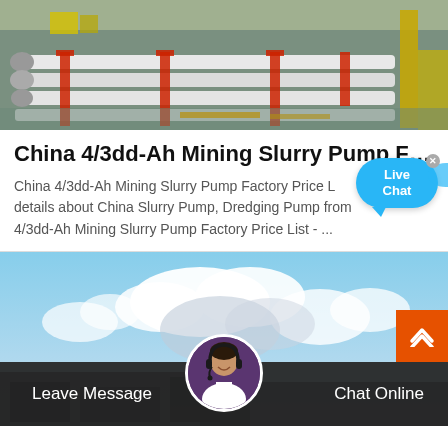[Figure (photo): Factory floor showing long white slurry pump pipes/equipment laid out in rows on a green industrial floor, with red support brackets and yellow structures visible.]
China 4/3dd-Ah Mining Slurry Pump Fa...
China 4/3dd-Ah Mining Slurry Pump Factory Price List, Find details about China Slurry Pump, Dredging Pump from 4/3dd-Ah Mining Slurry Pump Factory Price List - ...
[Figure (photo): Background sky image with clouds, a customer service representative avatar circle at the bottom center, a Live Chat bubble overlay, an orange scroll-to-top button, and a dark bottom bar with Leave Message and Chat Online buttons.]